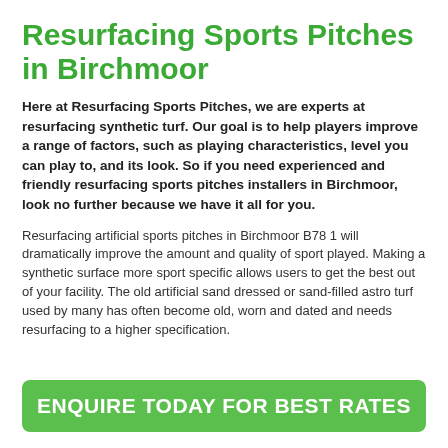Resurfacing Sports Pitches in Birchmoor
Here at Resurfacing Sports Pitches, we are experts at resurfacing synthetic turf. Our goal is to help players improve a range of factors, such as playing characteristics, level you can play to, and its look. So if you need experienced and friendly resurfacing sports pitches installers in Birchmoor, look no further because we have it all for you.
Resurfacing artificial sports pitches in Birchmoor B78 1 will dramatically improve the amount and quality of sport played. Making a synthetic surface more sport specific allows users to get the best out of your facility. The old artificial sand dressed or sand-filled astro turf used by many has often become old, worn and dated and needs resurfacing to a higher specification.
ENQUIRE TODAY FOR BEST RATES